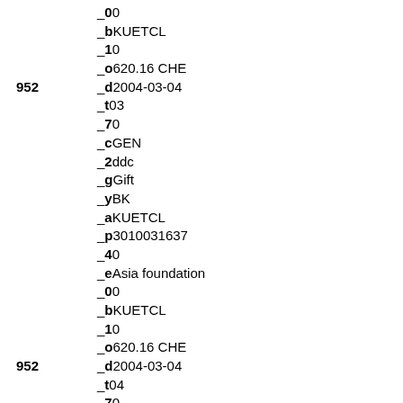_00
_bKUETCL
_10
_o620.16 CHE
952 _d2004-03-04
_t03
_70
_cGEN
_2ddc
_gGift
_yBK
_aKUETCL
_p3010031637
_40
_eAsia foundation
_00
_bKUETCL
_10
_o620.16 CHE
952 _d2004-03-04
_t04
_70
_cGEN
_2ddc
_gGift